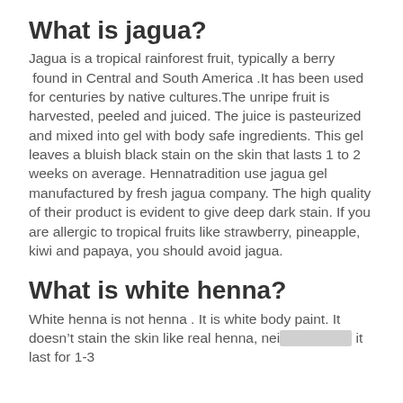What is jagua?
Jagua is a tropical rainforest fruit, typically a berry found in Central and South America .It has been used for centuries by native cultures.The unripe fruit is harvested, peeled and juiced. The juice is pasteurized and mixed into gel with body safe ingredients. This gel leaves a bluish black stain on the skin that lasts 1 to 2 weeks on average. Hennatradition use jagua gel manufactured by fresh jagua company. The high quality of their product is evident to give deep dark stain. If you are allergic to tropical fruits like strawberry, pineapple, kiwi and papaya, you should avoid jagua.
What is white henna?
White henna is not henna . It is white body paint. It doesn’t stain the skin like real henna, nei[keyboard] it last for 1-3